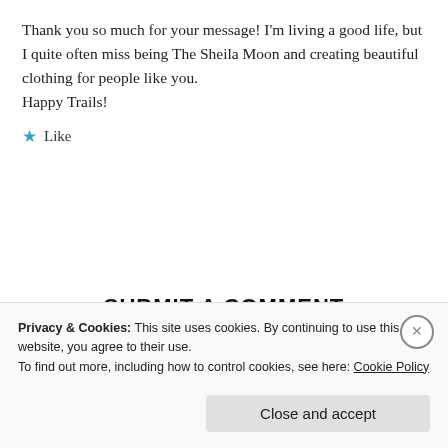Thank you so much for your message! I'm living a good life, but I quite often miss being The Sheila Moon and creating beautiful clothing for people like you.
Happy Trails!
★ Like
SUBMIT A COMMENT
Privacy & Cookies: This site uses cookies. By continuing to use this website, you agree to their use.
To find out more, including how to control cookies, see here: Cookie Policy
Close and accept